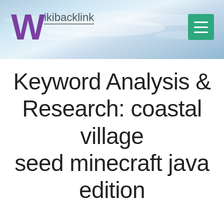[Figure (logo): Wikibacklink logo with large purple W and grey 'ikibacklink' text with underline, on a sky/clouds background banner]
Keyword Analysis & Research: coastal village seed minecraft java edition